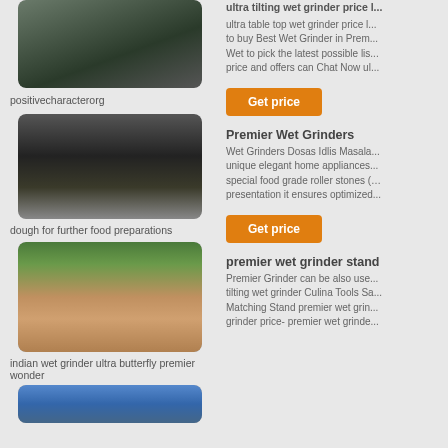[Figure (photo): Mining conveyor belt and industrial equipment on a hillside]
positivecharacterorg
[Figure (photo): Black and white photo of mining site with equipment and worker]
dough for further food preparations
[Figure (photo): Quarry site with trees on hillside and orange conveyor equipment]
indian wet grinder ultra butterfly premier wonder
[Figure (photo): Blue water or industrial scene, partially visible]
ultra tilting wet grinder price l...
ultra table top wet grinder price l... to buy Best Wet Grinder in Prem... Wet to pick the latest possible lis... price and offers can Chat Now ul...
[Figure (other): Get price button (orange)]
Premier Wet Grinders
Wet Grinders Dosas Idlis Masala... unique elegant home appliances... special food grade roller stones (... presentation it ensures optimized...
[Figure (other): Get price button (orange)]
premier wet grinder stand
Premier Grinder can be also use... tilting wet grinder Culina Tools Sa... Matching Stand premier wet grin... grinder price- premier wet grinde...